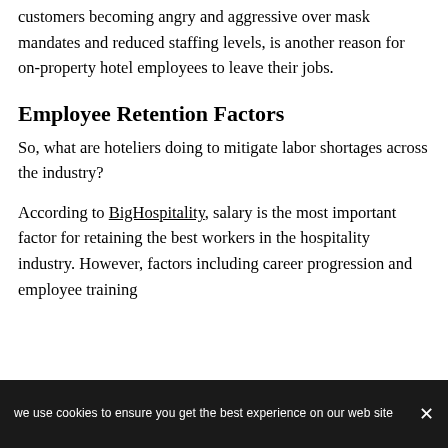customers becoming angry and aggressive over mask mandates and reduced staffing levels, is another reason for on-property hotel employees to leave their jobs.
Employee Retention Factors
So, what are hoteliers doing to mitigate labor shortages across the industry?
According to BigHospitality, salary is the most important factor for retaining the best workers in the hospitality industry. However, factors including career progression and employee training
we use cookies to ensure you get the best experience on our web site